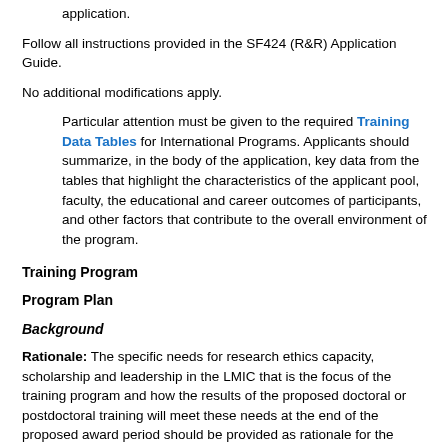application.
Follow all instructions provided in the SF424 (R&R) Application Guide.
No additional modifications apply.
Particular attention must be given to the required Training Data Tables for International Programs. Applicants should summarize, in the body of the application, key data from the tables that highlight the characteristics of the applicant pool, faculty, the educational and career outcomes of participants, and other factors that contribute to the overall environment of the program.
Training Program
Program Plan
Background
Rationale: The specific needs for research ethics capacity, scholarship and leadership in the LMIC that is the focus of the training program and how the results of the proposed doctoral or postdoctoral training will meet these needs at the end of the proposed award period should be provided as rationale for the specific program plan proposed. The description of the research intensive LMIC institution(s) involved should include a summary of the active human subject research and the current biomedical, behavioral and clinical research